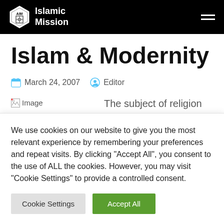Islamic Mission
Islam & Modernity
March 24, 2007   Editor
[Figure (photo): Broken image placeholder labeled 'Image']
The subject of religion and progress is one of those subjects which
We use cookies on our website to give you the most relevant experience by remembering your preferences and repeat visits. By clicking "Accept All", you consent to the use of ALL the cookies. However, you may visit "Cookie Settings" to provide a controlled consent.
Cookie Settings   Accept All